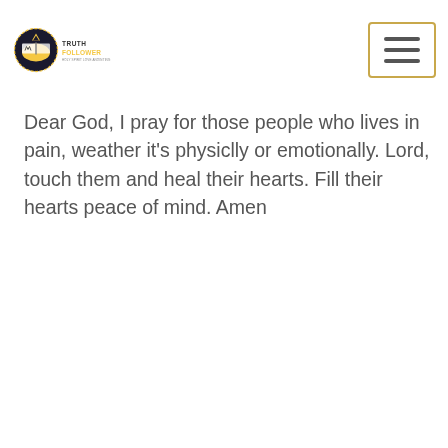Truth Follower logo and navigation
Dear God, I pray for those people who lives in pain, weather it's physiclly or emotionally. Lord, touch them and heal their hearts. Fill their hearts peace of mind. Amen